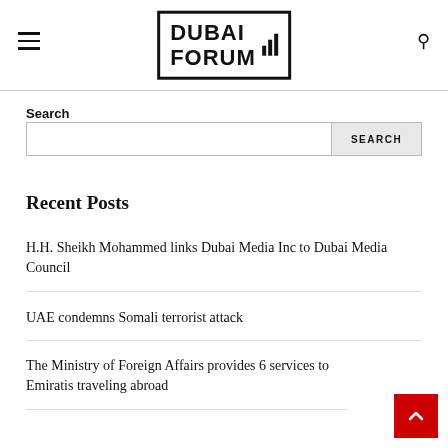Dubai Forum logo header with hamburger menu and search icon
Search
Search input and SEARCH button
Recent Posts
H.H. Sheikh Mohammed links Dubai Media Inc to Dubai Media Council
UAE condemns Somali terrorist attack
The Ministry of Foreign Affairs provides 6 services to Emiratis traveling abroad